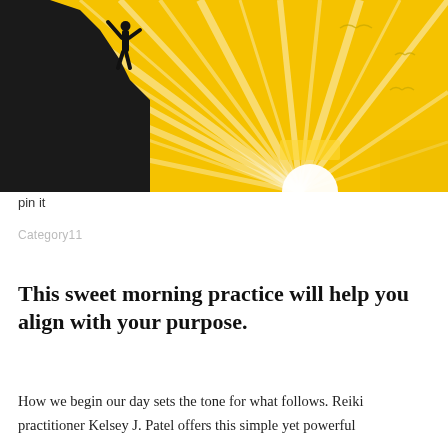[Figure (illustration): Silhouette of a person standing on a rocky cliff edge with arms outstretched, against a bright golden-yellow sunburst background with radiating white rays and two birds in flight.]
pin it
Category11
This sweet morning practice will help you align with your purpose.
How we begin our day sets the tone for what follows. Reiki practitioner Kelsey J. Patel offers this simple yet powerful